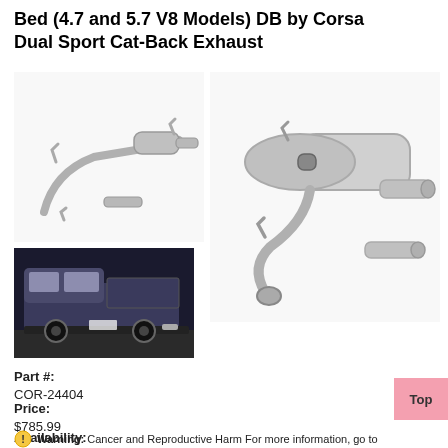Bed (4.7 and 5.7 V8 Models) DB by Corsa Dual Sport Cat-Back Exhaust
[Figure (photo): Exhaust system components — pipes and hangers on white background (small view)]
[Figure (photo): Exhaust system components — large muffler canister with pipes and hangers on white background]
[Figure (photo): Rear view of a dark pickup truck showing installed exhaust]
Part #:
COR-24404
Price:
$785.99
Availability:
Usually ships the next business day
Warning: Cancer and Reproductive Harm For more information, go to